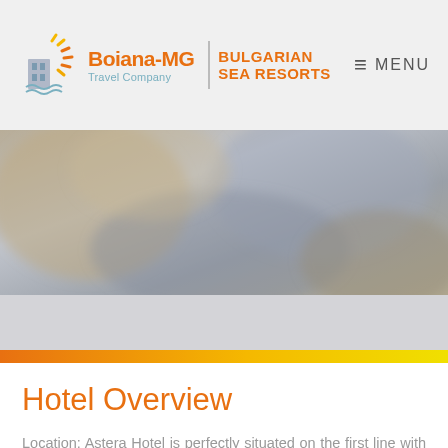[Figure (logo): Boiana-MG Travel Company | Bulgarian Sea Resorts logo with building/sun icon]
≡ MENU
[Figure (photo): Blurred hero image of hotel or resort interior/exterior]
Hotel Overview
Location: Astera Hotel is perfectly situated on the first line with great view to the sea in Golden Sands resort.